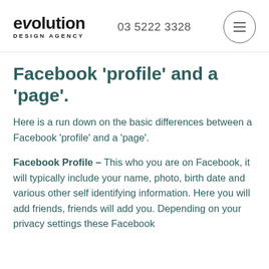evolution DESIGN AGENCY | 03 5222 3328
Facebook 'profile' and a 'page'.
Here is a run down on the basic differences between a Facebook 'profile' and a 'page'.
Facebook Profile – This who you are on Facebook, it will typically include your name, photo, birth date and various other self identifying information. Here you will add friends, friends will add you. Depending on your privacy settings these Facebook